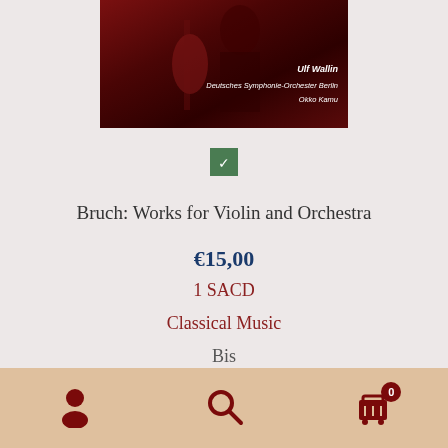[Figure (photo): Album cover for Bruch: Works for Violin and Orchestra featuring Ulf Wallin, Deutsches Symphonie-Orchester Berlin, Okko Kamu. Dark red background with a violin and performer visible.]
Bruch: Works for Violin and Orchestra
€15,00
1 SACD
Classical Music
Bis
Add to cart
[Figure (infographic): Bottom navigation bar with person/account icon, search icon, and shopping cart icon with badge showing 0]